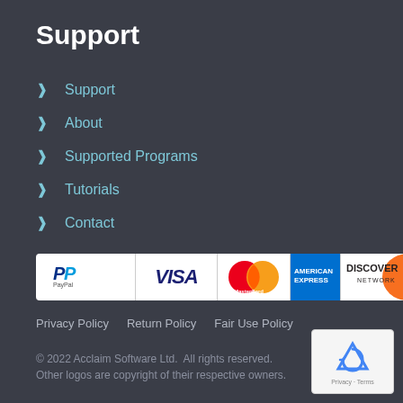Support
Support
About
Supported Programs
Tutorials
Contact
[Figure (logo): Payment logos strip showing PayPal, VISA, MasterCard, American Express, and Discover Network]
Privacy Policy   Return Policy   Fair Use Policy
© 2022 Acclaim Software Ltd.  All rights reserved.  Other logos are copyright of their respective owners.
[Figure (logo): reCAPTCHA logo badge with Privacy and Terms links]